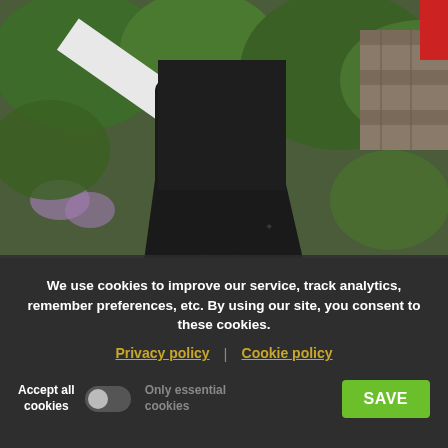[Figure (photo): Person walking or running outdoors, wearing black athletic pants and black top. Background shows green bushes, trees, and a stone wall. A white diagonal element (possibly a pole or barrier) is visible in the foreground left.]
We use cookies to improve our service, track analytics, remember preferences, etc. By using our site, you consent to these cookies.
Privacy policy | Cookie policy
Accept all cookies  Only essential cookies  SAVE